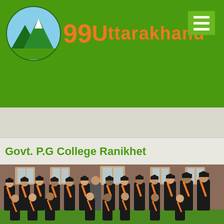[Figure (logo): 99Uttarakhand website logo with mountain and sky circle graphic and orange text '99Uttarakhand']
[Figure (other): Hamburger menu icon (three horizontal lines) on green background, top right corner]
Govt. P.G College Ranikhet
[Figure (photo): Group photo of college graduates in black graduation gowns with orange sashes and mortarboard caps, posed in front of a brick building]